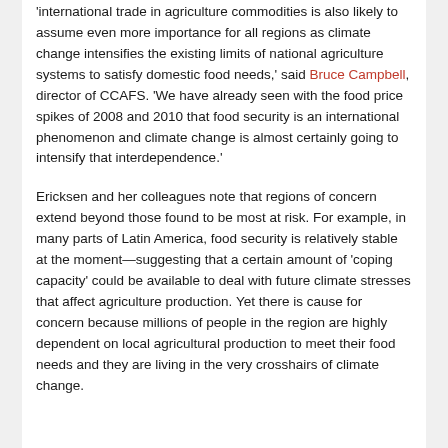'international trade in agriculture commodities is also likely to assume even more importance for all regions as climate change intensifies the existing limits of national agriculture systems to satisfy domestic food needs,' said Bruce Campbell, director of CCAFS. 'We have already seen with the food price spikes of 2008 and 2010 that food security is an international phenomenon and climate change is almost certainly going to intensify that interdependence.'
Ericksen and her colleagues note that regions of concern extend beyond those found to be most at risk. For example, in many parts of Latin America, food security is relatively stable at the moment—suggesting that a certain amount of 'coping capacity' could be available to deal with future climate stresses that affect agriculture production. Yet there is cause for concern because millions of people in the region are highly dependent on local agricultural production to meet their food needs and they are living in the very crosshairs of climate change.